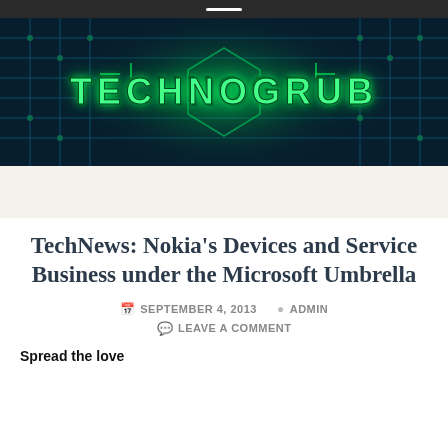[Figure (logo): TechnoGrub website banner with green neon circuit board background and TECHNOGRUB text in metallic green 3D lettering]
TechNews: Nokia's Devices and Service Business under the Microsoft Umbrella
SEPTEMBER 4, 2013  ADMIN
LEAVE A COMMENT
Spread the love